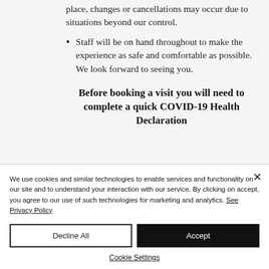place, changes or cancellations may occur due to situations beyond our control.
Staff will be on hand throughout to make the experience as safe and comfortable as possible. We look forward to seeing you.
Before booking a visit you will need to complete a quick COVID-19 Health Declaration
We use cookies and similar technologies to enable services and functionality on our site and to understand your interaction with our service. By clicking on accept, you agree to our use of such technologies for marketing and analytics. See Privacy Policy
Decline All
Accept
Cookie Settings